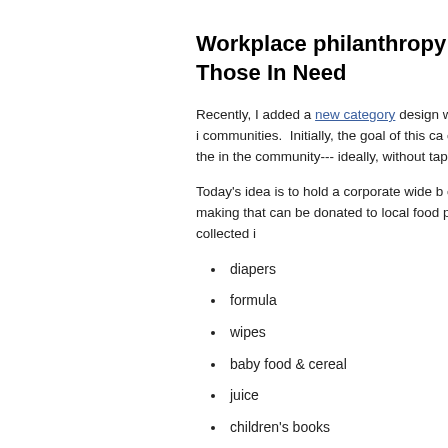Workplace philanthropy: Ha Those In Need
Recently, I added a new category design workplaces can become more involved i communities.  Initially, the goal of this ca can develop one-off opportunities for the in the community--- ideally, without tappi
Today's idea is to hold a corporate wide b children who are having difficulty making that can be donated to local food pantrie need them.  Items that can be collected i
diapers
formula
wipes
baby food & cereal
juice
children's books
small stuffed animals